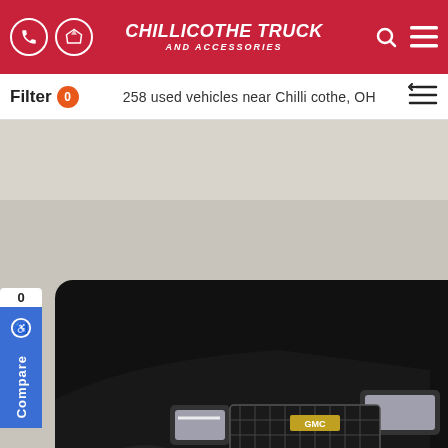CHILLICOTHE TRUCK AND ACCESSORIES
Filter 0   258 used vehicles near Chillicothe, OH
[Figure (photo): Front view of a black 2021 GMC Sierra 2500HD Denali truck on a showroom turntable, shot from a low angle showing the front grille, headlights, chrome bumper and wheel]
2021 GMC Sierra 2500HD Denali   $75,5
Stock #: CT-223 183 | Miles: 21,526 | Interior: Black | Est. paym $1,252/m
[Figure (photo): Partial view of a second vehicle listing below, appears to be a grey/silver vehicle in a garage setting, with eye icon showing 34 views]